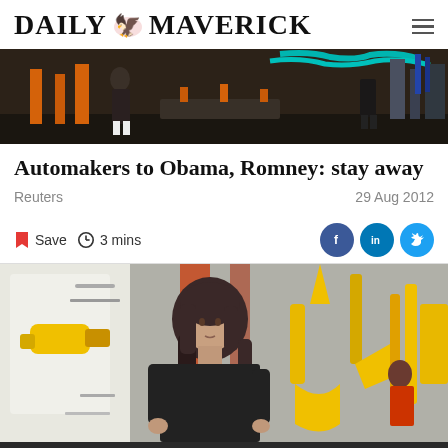DAILY MAVERICK
[Figure (photo): Factory floor scene showing workers and industrial machinery with orange equipment and a teal coiled hose]
Automakers to Obama, Romney: stay away
Reuters
29 Aug 2012
Save  3 mins
[Figure (photo): Female auto assembly line worker in a dark shirt working among yellow robotic assembly arms and industrial equipment in a car manufacturing plant]